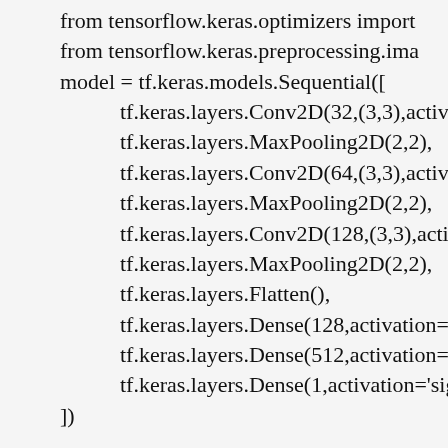from tensorflow.keras.optimizers import
from tensorflow.keras.preprocessing.ima
model = tf.keras.models.Sequential([
    tf.keras.layers.Conv2D(32,(3,3),activatio
    tf.keras.layers.MaxPooling2D(2,2),
    tf.keras.layers.Conv2D(64,(3,3),activatio
    tf.keras.layers.MaxPooling2D(2,2),
    tf.keras.layers.Conv2D(128,(3,3),activati
    tf.keras.layers.MaxPooling2D(2,2),
    tf.keras.layers.Flatten(),
    tf.keras.layers.Dense(128,activation='re
    tf.keras.layers.Dense(512,activation='re
    tf.keras.layers.Dense(1,activation='sigm
])